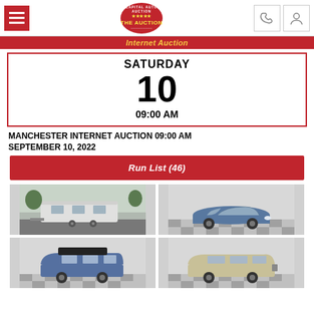The Auction - Capital Auto Auction
Internet Auction
SATURDAY
10
09:00 AM
MANCHESTER INTERNET AUCTION 09:00 AM SEPTEMBER 10, 2022
Run List (46)
[Figure (photo): White travel trailer / RV in a parking lot]
[Figure (photo): Blue Toyota Prius on a checkered floor showroom]
[Figure (photo): Blue minivan with roof cargo box on checkered floor]
[Figure (photo): Silver/gold SUV on checkered floor showroom]